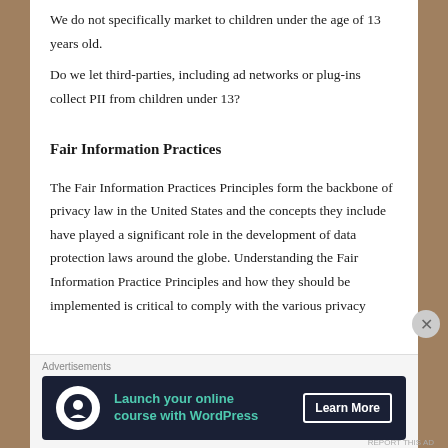We do not specifically market to children under the age of 13 years old.
Do we let third-parties, including ad networks or plug-ins collect PII from children under 13?
Fair Information Practices
The Fair Information Practices Principles form the backbone of privacy law in the United States and the concepts they include have played a significant role in the development of data protection laws around the globe. Understanding the Fair Information Practice Principles and how they should be implemented is critical to comply with the various privacy
[Figure (infographic): Advertisement banner: 'Launch your online course with WordPress' with Learn More button and tree/person icon, on dark navy background]
Advertisements